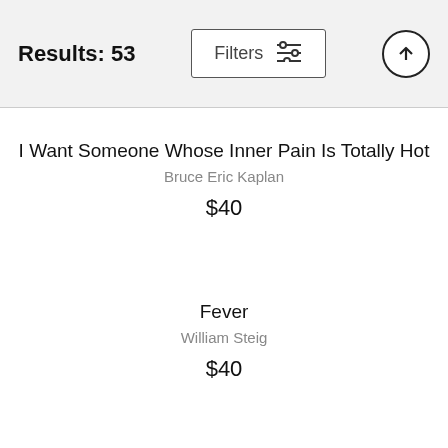Results: 53
I Want Someone Whose Inner Pain Is Totally Hot
Bruce Eric Kaplan
$40
Fever
William Steig
$40
The Human Bond
Frank Cotham